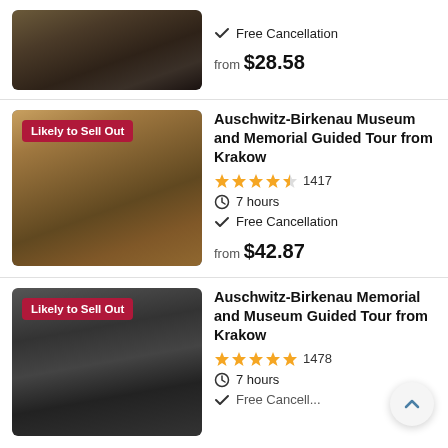[Figure (photo): Top partial listing showing a train track photo (cropped at top), with Free Cancellation checkmark and price 'from $28.58']
[Figure (photo): Photo of Auschwitz-Birkenau entrance with people walking, labeled 'Likely to Sell Out']
Auschwitz-Birkenau Museum and Memorial Guided Tour from Krakow
4.5 stars, 1417 reviews, 7 hours, Free Cancellation, from $42.87
[Figure (photo): Black and white photo of Auschwitz-Birkenau Memorial gate, labeled 'Likely to Sell Out']
Auschwitz-Birkenau Memorial and Museum Guided Tour from Krakow
5 stars, 1478 reviews, 7 hours, Free Cancellation